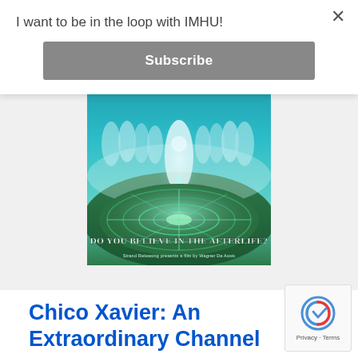I want to be in the loop with IMHU!
Subscribe
[Figure (photo): Movie poster for 'A Spiritual Journey' showing ghostly figures standing in a misty landscape with a circular city below. Text reads: 'A SPIRITUAL JOURNEY', 'BASED ON THE NOVEL NOSSO LAR (OUR HOME) BY MEDIUM CHICO XAVIER', 'DO YOU BELIEVE IN THE AFTERLIFE?', 'Strand Releasing presents a film by Wagner De Assis']
Chico Xavier: An Extraordinary Channel